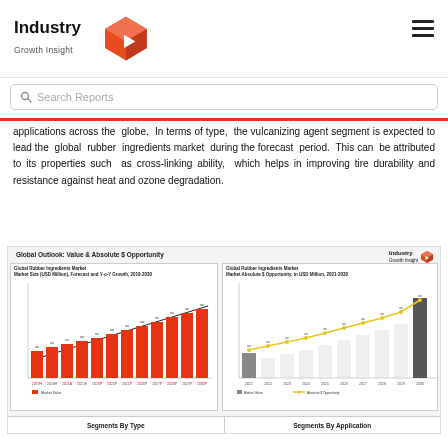[Figure (logo): Industry Growth Insight logo with red geometric box icon and hamburger menu icon on right]
[Figure (other): Search Reports search bar with magnifying glass icon]
applications across the globe. In terms of type, the vulcanizing agent segment is expected to lead the global rubber ingredients market during the forecast period. This can be attributed to its properties such as cross-linking ability, which helps in improving tire durability and resistance against heat and ozone degradation.
[Figure (bar-chart): Bar chart showing market size with bars labeled XX across years 2019H through 2030P with a trend line, Market Value legend in red]
[Figure (line-chart): Combined bar and line chart showing absolute dollar opportunity from 2021 to 2030 with gray bars and yellow line, Market Value and Absolute $ Opportunity legend]
Global Outlook: Value & Absolute $ Opportunity
Segments By Type
Segments By Application